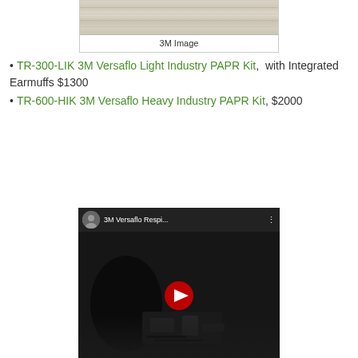[Figure (photo): 3M product image showing wood grain texture sample in a bordered box]
3M Image
TR-300-LIK 3M Versaflo Light Industry PAPR Kit, with Integrated Earmuffs $1300
TR-600-HIK 3M Versaflo Heavy Industry PAPR Kit, $2000
[Figure (screenshot): YouTube video thumbnail showing '3M Versaflo Respi...' with a play button, dark background with respirator equipment visible]